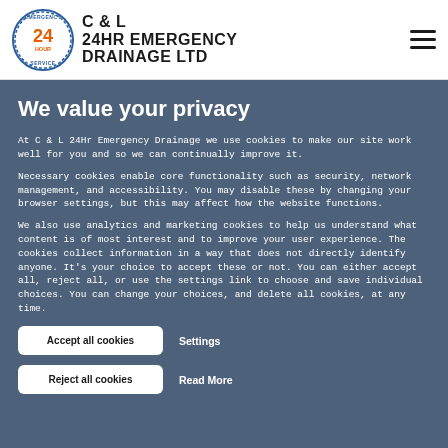C & L 24HR EMERGENCY DRAINAGE LTD
We value your privacy
At C & L 24Hr Emergency Drainage we use cookies to make our site work well for you and so we can continually improve it.
Necessary cookies enable core functionality such as security, network management, and accessibility. You may disable these by changing your browser settings, but this may affect how the website functions.
We also use analytics and marketing cookies to help us understand what content is of most interest and to improve your user experience. The cookies collect information in a way that does not directly identify anyone. It's your choice to accept these or not. You can either accept all, reject all, or use the settings link to choose and save individual choices. You can change your choices, and delete all cookies, at any time.
Accept all cookies
Settings
Reject all cookies
Read More